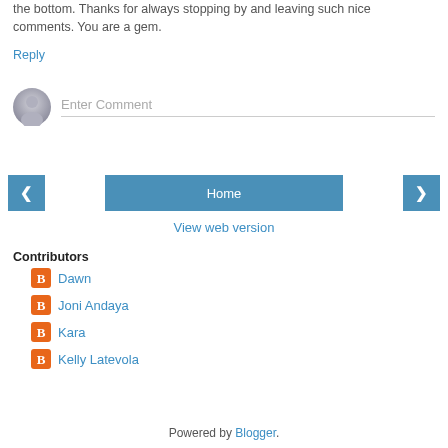the bottom. Thanks for always stopping by and leaving such nice comments. You are a gem.
Reply
[Figure (other): Comment input area with avatar placeholder and 'Enter Comment' text field]
< Home >
View web version
Contributors
Dawn
Joni Andaya
Kara
Kelly Latevola
Powered by Blogger.